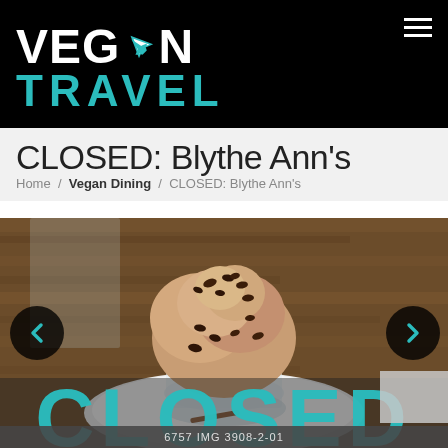[Figure (logo): Vegan Travel logo: white bold VEGAN text with airplane icon replacing the O, teal bold TRAVEL text below, on black background. Hamburger menu icon top right.]
CLOSED: Blythe Ann's
Home / Vegan Dining / CLOSED: Blythe Ann's
[Figure (photo): Overhead photo of a vegan ice cream dessert in a glass sundae cup on a white plate, topped with chocolate chips, on a dark wood table. Slideshow navigation arrows on left and right. Large teal CLOSED text overlaid at bottom of image. Small gray square in bottom right corner.]
6757 IMG 3908-2-01